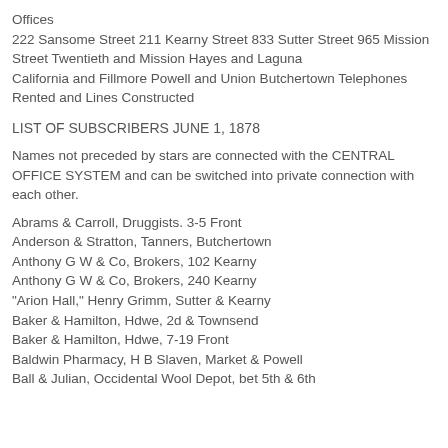Offices
222 Sansome Street 211 Kearny Street 833 Sutter Street 965 Mission Street Twentieth and Mission Hayes and Laguna
California and Fillmore Powell and Union Butchertown Telephones Rented and Lines Constructed
LIST OF SUBSCRIBERS JUNE 1, 1878
Names not preceded by stars are connected with the CENTRAL OFFICE SYSTEM and can be switched into private connection with each other.
Abrams & Carroll, Druggists. 3-5 Front
Anderson & Stratton, Tanners, Butchertown
Anthony G W & Co, Brokers, 102 Kearny
Anthony G W & Co, Brokers, 240 Kearny
"Arion Hall," Henry Grimm, Sutter & Kearny
Baker & Hamilton, Hdwe, 2d & Townsend
Baker & Hamilton, Hdwe, 7-19 Front
Baldwin Pharmacy, H B Slaven, Market & Powell
Ball & Julian, Occidental Wool Depot, bet 5th & 6th